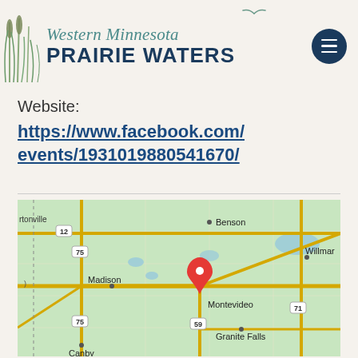Western Minnesota Prairie Waters
Website:
https://www.facebook.com/events/1931019880541670/
[Figure (map): Google Maps showing Montevideo, Minnesota area with surrounding cities including Benson, Willmar, Madison, Granite Falls, Canby, and route markers for highways 12, 75, 59, and 71. A red location pin marks Montevideo.]